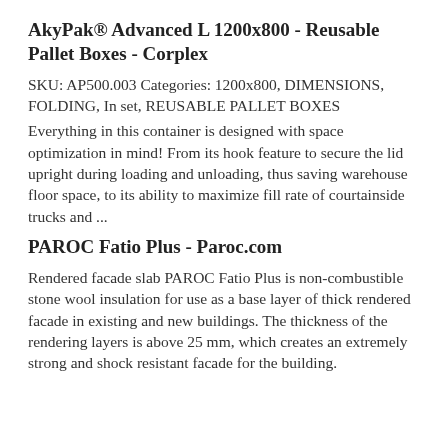AkyPak® Advanced L 1200x800 - Reusable Pallet Boxes - Corplex
SKU: AP500.003 Categories: 1200x800, DIMENSIONS, FOLDING, In set, REUSABLE PALLET BOXES
Everything in this container is designed with space optimization in mind! From its hook feature to secure the lid upright during loading and unloading, thus saving warehouse floor space, to its ability to maximize fill rate of courtainside trucks and ...
PAROC Fatio Plus - Paroc.com
Rendered facade slab PAROC Fatio Plus is non-combustible stone wool insulation for use as a base layer of thick rendered facade in existing and new buildings. The thickness of the rendering layers is above 25 mm, which creates an extremely strong and shock resistant facade for the building.